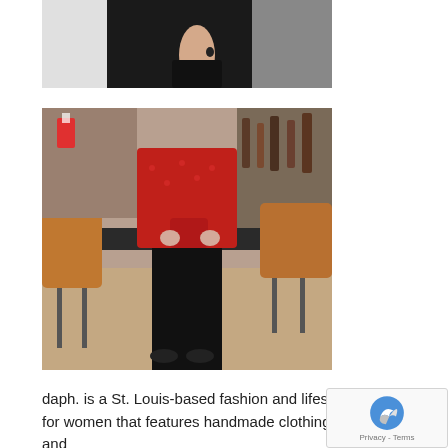[Figure (photo): Cropped photo showing a person in a black outfit holding a black bag, white/grey background, partial upper body view]
[Figure (photo): Full-length photo of a woman in a red top and black wide-leg trousers holding a red handbag, standing in a bar/lounge setting with brown leather barstools]
daph. is a St. Louis-based fashion and lifestyle brand for women that features handmade clothing, handbags and